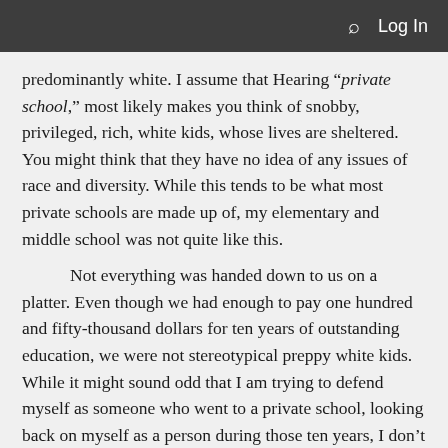Log In
predominantly white. I assume that Hearing “private school,” most likely makes you think of snobby, privileged, rich, white kids, whose lives are sheltered. You might think that they have no idea of any issues of race and diversity. While this tends to be what most private schools are made up of, my elementary and middle school was not quite like this.

Not everything was handed down to us on a platter. Even though we had enough to pay one hundred and fifty-thousand dollars for ten years of outstanding education, we were not stereotypical preppy white kids. While it might sound odd that I am trying to defend myself as someone who went to a private school, looking back on myself as a person during those ten years, I don’t see a snobby rich white kid. I do see a sheltered white kid.

From pre-k all the way through eighth grade my